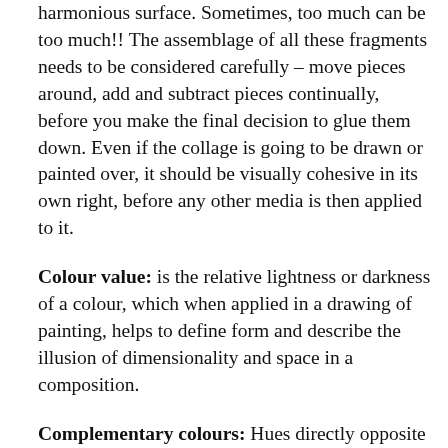harmonious surface. Sometimes, too much can be too much!! The assemblage of all these fragments needs to be considered carefully – move pieces around, add and subtract pieces continually, before you make the final decision to glue them down. Even if the collage is going to be drawn or painted over, it should be visually cohesive in its own right, before any other media is then applied to it.
Colour value: is the relative lightness or darkness of a colour, which when applied in a drawing of painting, helps to define form and describe the illusion of dimensionality and space in a composition.
Complementary colours: Hues directly opposite one another on the colour wheel that are as different from one another as possible. When placed side by side, complementary colours are intensified because the unique light absorbing and reflecting qualities of each play against each other. When you want to create contrast with colour, this is an